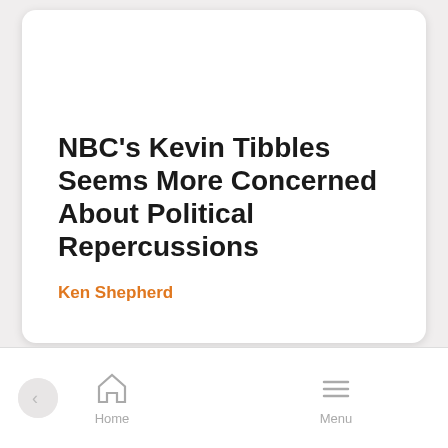NBC's Kevin Tibbles Seems More Concerned About Political Repercussions
Ken Shepherd
Home  Menu